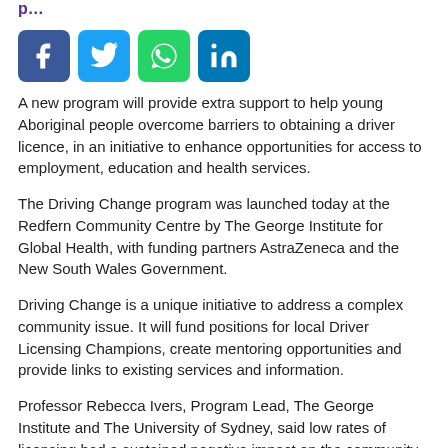p…
[Figure (other): Social media share buttons: Facebook (blue), Twitter (light blue), WhatsApp (green), LinkedIn (blue)]
A new program will provide extra support to help young Aboriginal people overcome barriers to obtaining a driver licence, in an initiative to enhance opportunities for access to employment, education and health services.
The Driving Change program was launched today at the Redfern Community Centre by The George Institute for Global Health, with funding partners AstraZeneca and the New South Wales Government.
Driving Change is a unique initiative to address a complex community issue. It will fund positions for local Driver Licensing Champions, create mentoring opportunities and provide links to existing services and information.
Professor Rebecca Ivers, Program Lead, The George Institute and The University of Sydney, said low rates of licensing had a sustained negative impact on the community.
"If you have limited access to a car to practise, TAFE…